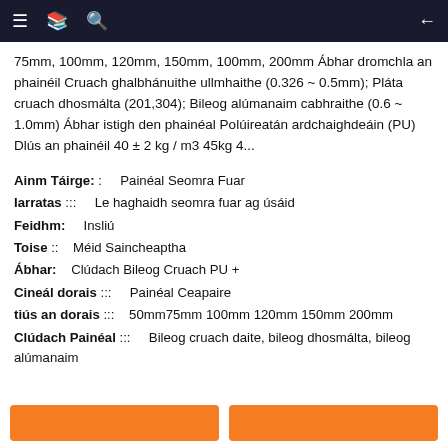≡  [icon]  🔍  ←
75mm, 100mm, 120mm, 150mm, 100mm, 200mm Ábhar dromchla an phainéil Cruach ghalbhánuithe ullmhaithe (0.326 ~ 0.5mm); Pláta cruach dhosmálta (201,304); Bileog alúmanaim cabhraithe (0.6 ~ 1.0mm) Ábhar istigh den phainéal Polúireatán ardchaighdeáin (PU) Dlús an phainéil 40 ± 2 kg / m3 45kg 4...
Ainm Táirge: :     Painéal Seomra Fuar
Iarratas :::     Le haghaidh seomra fuar ag úsáid
Feidhm:     Insliú
Toise ::    Méid Saincheaptha
Ábhar:    Clúdach Bileog Cruach PU +
Cineál dorais :::     Painéal Ceapaire
tiús an dorais :::    50mm75mm 100mm 120mm 150mm 200mm
Clúdach Painéal :::     Bileog cruach daite, bileog dhosmálta, bileog alúmanaim